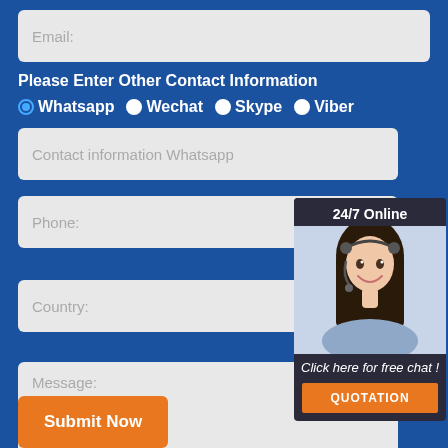Email:
Please Enter Other Contact Information
Whatsapp
Wechat
Skype
Viber
Contact information Whatsapp
Phone:
Country:
Message:
[Figure (photo): Customer service representative smiling with headset, 24/7 Online chat popup with QUOTATION button]
Submit Now